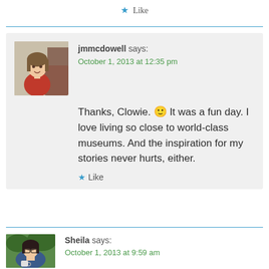★ Like
jmmcdowell says:
October 1, 2013 at 12:35 pm

Thanks, Clowie. 🙂 It was a fun day. I love living so close to world-class museums. And the inspiration for my stories never hurts, either.

★ Like
Sheila says:
October 1, 2013 at 9:59 am